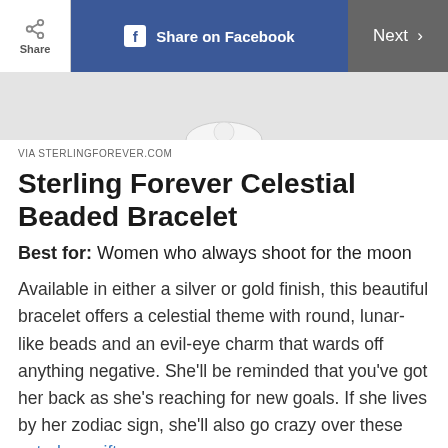Share | Share on Facebook | Next
[Figure (photo): Partial view of a bracelet product photo on a light gray background]
VIA STERLINGFOREVER.COM
Sterling Forever Celestial Beaded Bracelet
Best for: Women who always shoot for the moon
Available in either a silver or gold finish, this beautiful bracelet offers a celestial theme with round, lunar-like beads and an evil-eye charm that wards off anything negative. She'll be reminded that you've got her back as she's reaching for new goals. If she lives by her zodiac sign, she'll also go crazy over these astrology gifts.